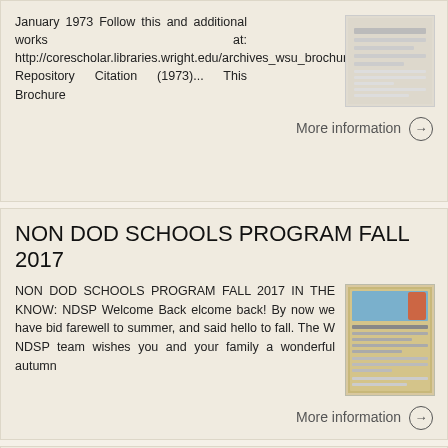January 1973 Follow this and additional works at: http://corescholar.libraries.wright.edu/archives_wsu_brochures Repository Citation (1973)... This Brochure
More information →
NON DOD SCHOOLS PROGRAM FALL 2017
NON DOD SCHOOLS PROGRAM FALL 2017 IN THE KNOW: NDSP Welcome Back elcome back! By now we have bid farewell to summer, and said hello to fall. The W NDSP team wishes you and your family a wonderful autumn
More information →
JD Concentrations CONCENTRATIONS. J.D. students at NUSL have the option of concentrating in one or more of the